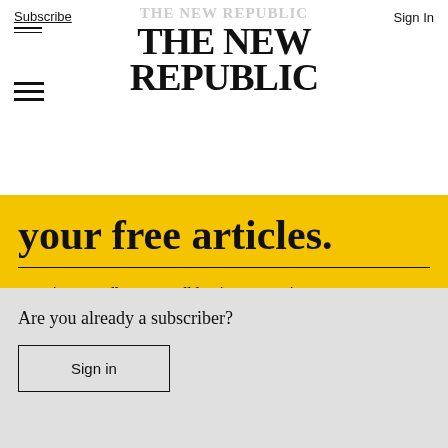Subscribe | THE NEW REPUBLIC | Sign In
your free articles.
Introductory offer: 50% off fearless reporting. 1 year for $10.
Subscribe
Are you already a subscriber?
Sign in